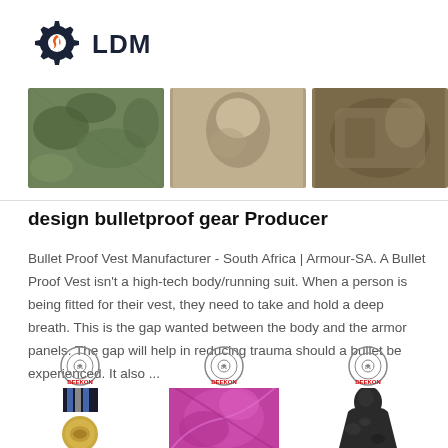[Figure (logo): LDM logo with gear icon in dark navy and orange, text LDM in bold dark navy]
[Figure (photo): Three military/tactical gear product images in a horizontal strip: camouflage fabric left, tan/khaki item center, camouflage bag/gear right]
design bulletproof gear Producer
Bullet Proof Vest Manufacturer - South Africa | Armour-SA. A Bullet Proof Vest isn't a high-tech body/running suit. When a person is being fitted for their vest, they need to take and hold a deep breath. This is the gap wanted between the body and the armor panels. The gap will help in reducing trauma should a bullet be experienced. It also ...
[Figure (photo): Three Deekon-branded product images: military medal with ribbon left, pink/magenta fabric center, dark camouflage hooded cloak/poncho right. Each topped with Deekon circular logo badge and red DEEKON text.]